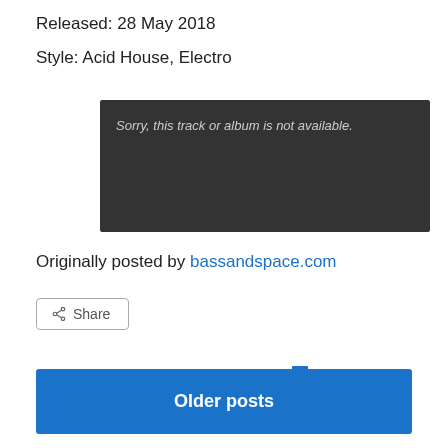Released: 28 May 2018
Style: Acid House, Electro
[Figure (screenshot): Dark player embed box with text: Sorry, this track or album is not available.]
Originally posted by bassandspace.com
Share (button)
June 17, 2018 | Leave a Reply
Older posts